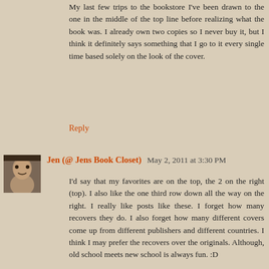My last few trips to the bookstore I've been drawn to the one in the middle of the top line before realizing what the book was. I already own two copies so I never buy it, but I think it definitely says something that I go to it every single time based solely on the look of the cover.
Reply
Jen (@ Jens Book Closet)  May 2, 2011 at 3:30 PM
I'd say that my favorites are on the top, the 2 on the right (top). I also like the one third row down all the way on the right. I really like posts like these. I forget how many recovers they do. I also forget how many different covers come up from different publishers and different countries. I think I may prefer the recovers over the originals. Although, old school meets new school is always fun. :D
Jen
In the Closet With a Bibliophile
Reply